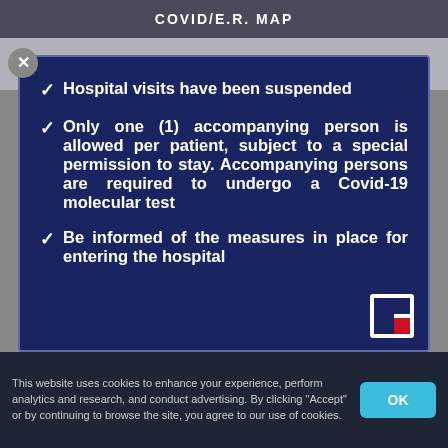COVID/E.R. MAP
Hospital visits have been suspended
Only one (1) accompanying person is allowed per patient, subject to a special permission to stay. Accompanying persons are required to undergo a Covid-19 molecular test
Be informed of the measures in place for entering the hospital
This website uses cookies to enhance your experience, perform analytics and research, and conduct advertising. By clicking "Accept" or by continuing to browse the site, you agree to our use of cookies.